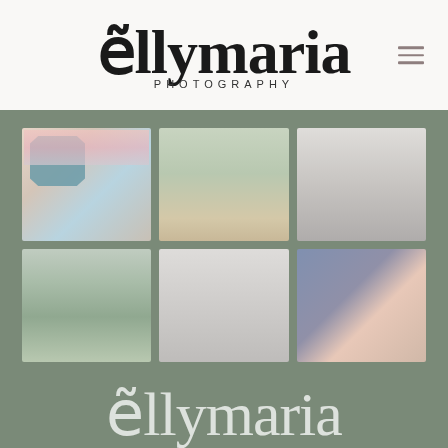[Figure (logo): ellymaria PHOTOGRAPHY logo in black serif font with tilde accent over the e, centered in white header]
[Figure (infographic): 3x2 grid of wedding photography images on sage green background: ring box with flowers, couple in field, bridesmaids in black and white, bride and groom on path, couple on bridge in black and white, couple embracing in color]
ellymaria